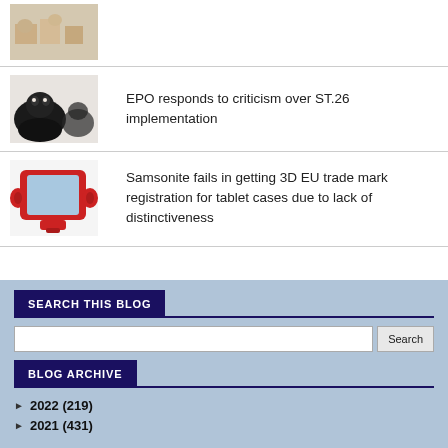[Figure (photo): Cats sitting among cardboard boxes (partially visible at top)]
[Figure (photo): Black fluffy cat sitting, partially cropped]
EPO responds to criticism over ST.26 implementation
[Figure (photo): Red children's tablet case shaped like a character holding an iPad]
Samsonite fails in getting 3D EU trade mark registration for tablet cases due to lack of distinctiveness
SEARCH THIS BLOG
BLOG ARCHIVE
► 2022 (219)
► 2021 (431)